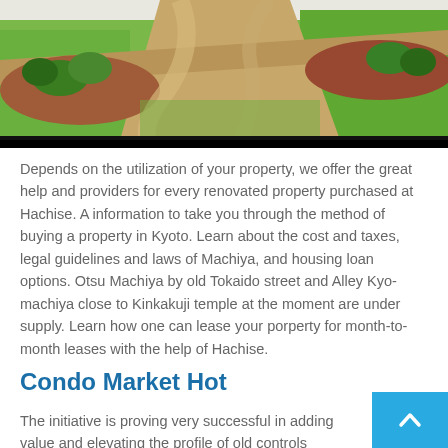[Figure (photo): Aerial or ground-level view of a landscaped garden with curved pathways, green grass, and garden beds with red/brown mulch and shrubs.]
Depends on the utilization of your property, we offer the great help and providers for every renovated property purchased at Hachise. A information to take you through the method of buying a property in Kyoto. Learn about the cost and taxes, legal guidelines and laws of Machiya, and housing loan options. Otsu Machiya by old Tokaido street and Alley Kyo-machiya close to Kinkakuji temple at the moment are under supply. Learn how one can lease your porperty for month-to-month leases with the help of Hachise.
Condo Market Hot
The initiative is proving very successful in adding value and elevating the profile of old controls quarter...